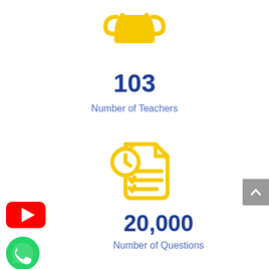[Figure (illustration): Yellow trophy/award cup icon, partially visible at top of page]
103
Number of Teachers
[Figure (illustration): Yellow stopwatch/timer with checklist document icon]
20,000
Number of Questions
[Figure (illustration): Gray scroll-to-top button with white chevron arrow]
[Figure (illustration): YouTube red logo button]
[Figure (illustration): WhatsApp green logo]